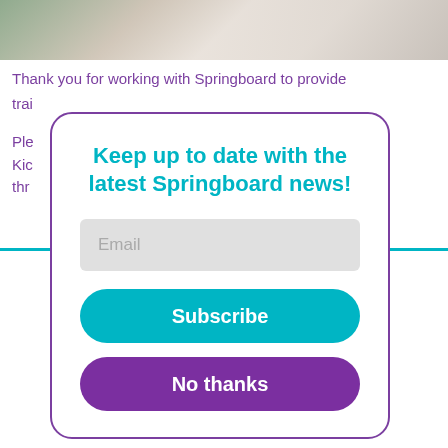[Figure (photo): Partial view of a person working, with flowers and plants in the background, serving as a header image strip.]
Thank you for working with Springboard to provide training opportunities for your employees. Please complete this survey to let us know how the Kickstart training has worked for you – this will help through...
Keep up to date with the latest Springboard news!
Email
Subscribe
No thanks
Agree